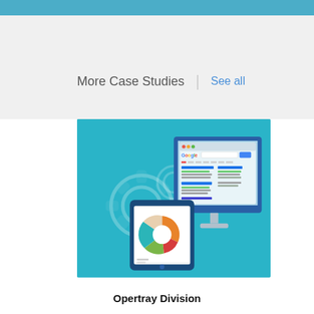More Case Studies | See all
[Figure (illustration): Teal/blue background illustration showing a desktop computer monitor displaying a Google search results page, and a tablet device showing a donut/pie chart. Gear icons visible in the background.]
Opertray Division